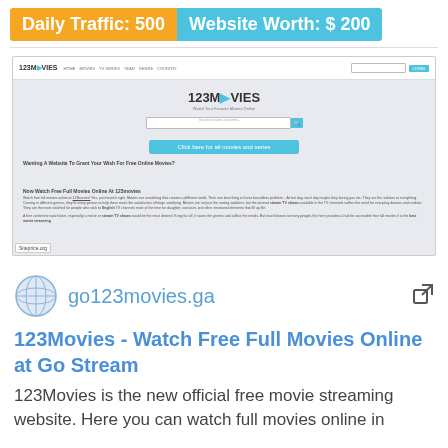Daily Traffic: 500  Website Worth: $ 200
[Figure (screenshot): Screenshot of 123Movies website showing logo, navigation bar, search bar, CTA button and introductory text content with siteprice.org watermark]
go123movies.ga
123Movies - Watch Free Full Movies Online at Go Stream
123Movies is the new official free movie streaming website. Here you can watch full movies online in